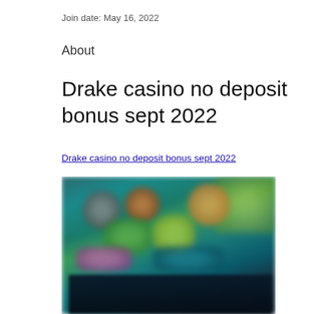Join date: May 16, 2022
About
Drake casino no deposit bonus sept 2022
Drake casino no deposit bonus sept 2022
[Figure (photo): Blurred screenshot of a casino website showing colorful game thumbnails and characters on a dark teal/blue background]